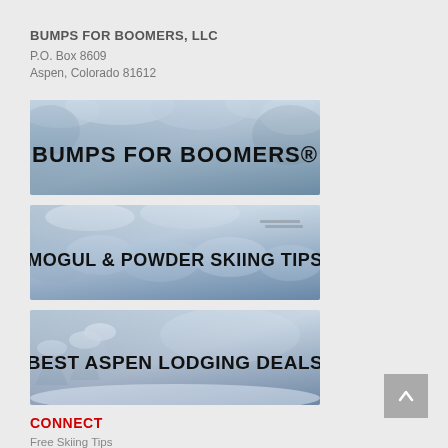BUMPS FOR BOOMERS, LLC
P.O. Box 8609
Aspen, Colorado 81612
[Figure (illustration): Banner image with snowy mountain background and text BUMPS FOR BOOMERS®]
[Figure (illustration): Banner image with snowy mogul background and text MOGUL & POWDER SKIING TIPS]
[Figure (illustration): Banner image with snowy tree background and text BEST ASPEN LODGING DEALS]
CONNECT
Free Skiing Tips
You Tube
Facebook
Twitter